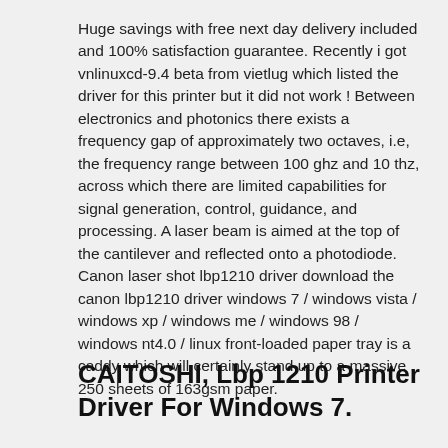Huge savings with free next day delivery included and 100% satisfaction guarantee. Recently i got vnlinuxcd-9.4 beta from vietlug which listed the driver for this printer but it did not work ! Between electronics and photonics there exists a frequency gap of approximately two octaves, i.e, the frequency range between 100 ghz and 10 thz, across which there are limited capabilities for signal generation, control, guidance, and processing. A laser beam is aimed at the top of the cantilever and reflected onto a photodiode. Canon laser shot lbp1210 driver download the canon lbp1210 driver windows 7 / windows vista / windows xp / windows me / windows 98 / windows nt4.0 / linux front-loaded paper tray is a caddy which will certainly stand up to a massive 250 sheets of 163gsm paper.
CAITOSHI, Lbp 1210 Printer Driver For Windows 7.